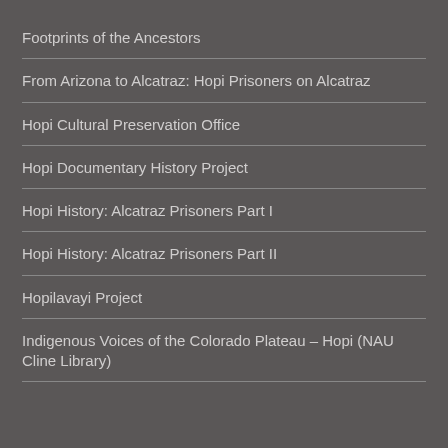Footprints of the Ancestors
From Arizona to Alcatraz: Hopi Prisoners on Alcatraz
Hopi Cultural Preservation Office
Hopi Documentary History Project
Hopi History: Alcatraz Prisoners Part I
Hopi History: Alcatraz Prisoners Part II
Hopilavayi Project
Indigenous Voices of the Colorado Plateau – Hopi (NAU Cline Library)